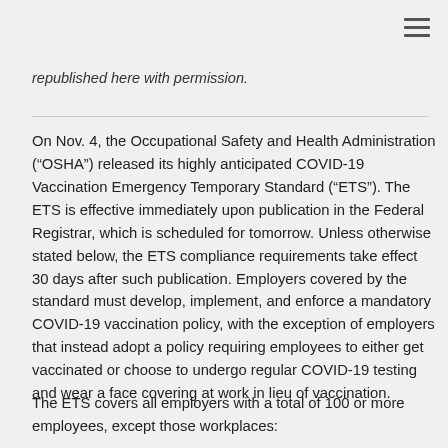republished here with permission.
On Nov. 4, the Occupational Safety and Health Administration (“OSHA”) released its highly anticipated COVID-19 Vaccination Emergency Temporary Standard (“ETS”). The ETS is effective immediately upon publication in the Federal Registrar, which is scheduled for tomorrow. Unless otherwise stated below, the ETS compliance requirements take effect 30 days after such publication. Employers covered by the standard must develop, implement, and enforce a mandatory COVID-19 vaccination policy, with the exception of employers that instead adopt a policy requiring employees to either get vaccinated or choose to undergo regular COVID-19 testing and wear a face covering at work in lieu of vaccination.
The ETS covers all employers with a total of 100 or more employees, except those workplaces: